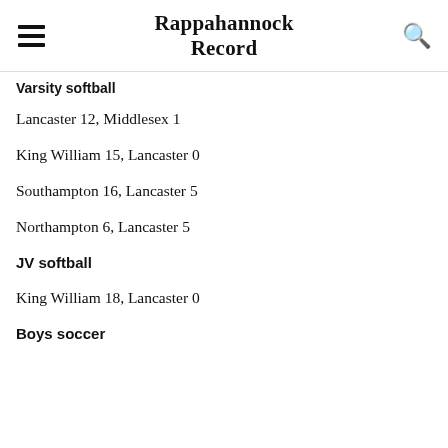Rappahannock Record
Varsity softball
Lancaster 12, Middlesex 1
King William 15, Lancaster 0
Southampton 16, Lancaster 5
Northampton 6, Lancaster 5
JV softball
King William 18, Lancaster 0
Boys soccer